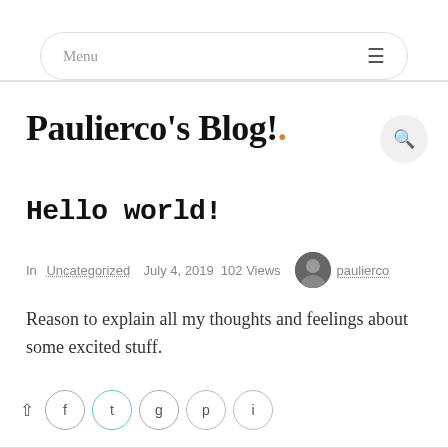Menu
Paulierco's Blog!.
Hello world!
In Uncategorized  July 4, 2019  102 Views  paulierco
Reason to explain all my thoughts and feelings about some excited stuff.